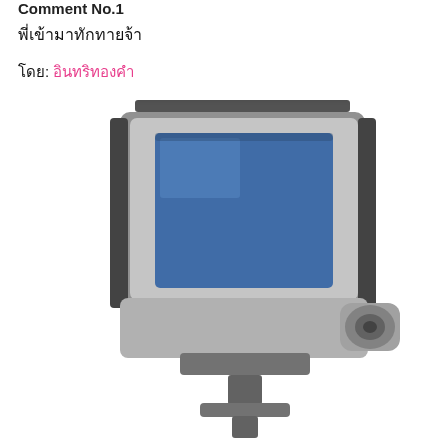Comment No.1
พี่เข้ามาทักทายจ้า
โดย: อินทริทองคำ
[Figure (photo): A blurry photo of an action camera (resembling a GoPro) mounted on a stand, facing forward, showing a blue screen display on the front, with silver/grey body and mounting hardware visible at the bottom.]